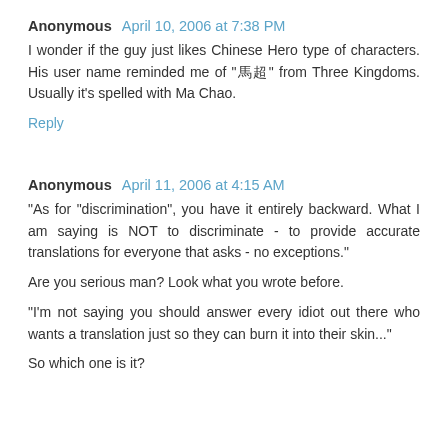Anonymous  April 10, 2006 at 7:38 PM
I wonder if the guy just likes Chinese Hero type of characters. His user name reminded me of "馬超" from Three Kingdoms. Usually it's spelled with Ma Chao.
Reply
Anonymous  April 11, 2006 at 4:15 AM
"As for "discrimination", you have it entirely backward. What I am saying is NOT to discriminate - to provide accurate translations for everyone that asks - no exceptions."
Are you serious man? Look what you wrote before.
"I'm not saying you should answer every idiot out there who wants a translation just so they can burn it into their skin..."
So which one is it?